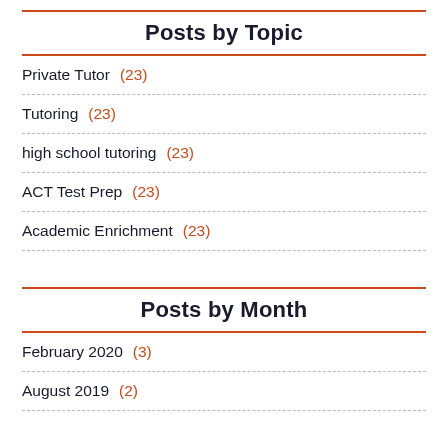Posts by Topic
Private Tutor  (23)
Tutoring  (23)
high school tutoring  (23)
ACT Test Prep  (23)
Academic Enrichment  (23)
Posts by Month
February 2020  (3)
August 2019  (2)